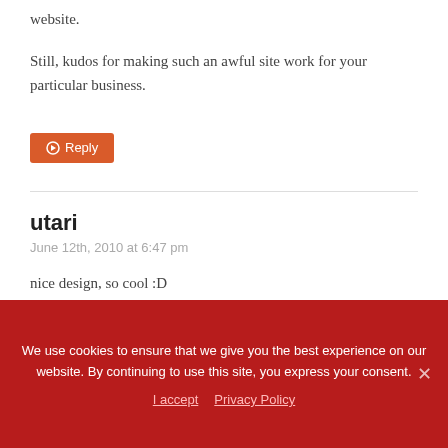website.
Still, kudos for making such an awful site work for your particular business.
Reply
utari
June 12th, 2010 at 6:47 pm
nice design, so cool :D
inspirative.
We use cookies to ensure that we give you the best experience on our website. By continuing to use this site, you express your consent.
I accept   Privacy Policy